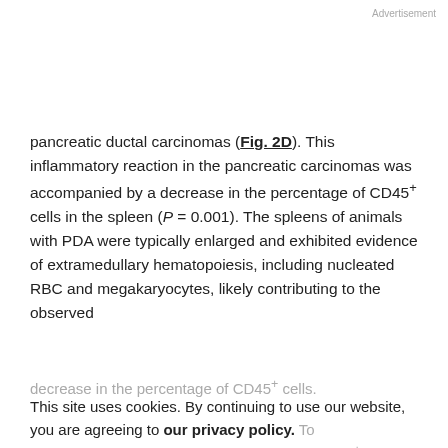Advertisement
pancreatic ductal carcinomas (Fig. 2D). This inflammatory reaction in the pancreatic carcinomas was accompanied by a decrease in the percentage of CD45+ cells in the spleen (P = 0.001). The spleens of animals with PDA were typically enlarged and exhibited evidence of extramedullary hematopoiesis, including nucleated RBC and megakaryocytes, likely contributing to the observed decrease in the percentage of CD45+ cells.
This site uses cookies. By continuing to use our website, you are agreeing to our privacy policy. Accept